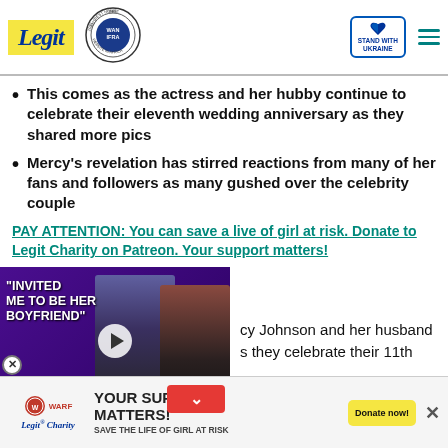Legit | WAN IFRA 2021 Best News Website in Africa | Stand with Ukraine
This comes as the actress and her hubby continue to celebrate their eleventh wedding anniversary as they shared more pics
Mercy's revelation has stirred reactions from many of her fans and followers as many gushed over the celebrity couple
PAY ATTENTION: You can save a live of girl at risk. Donate to Legit Charity on Patreon. Your support matters!
[Figure (screenshot): Video thumbnail with text 'INVITED ME TO BE HER BOYFRIEND' overlaid on image of two people, with play button]
cy Johnson and her husband s they celebrate their 11th
[Figure (infographic): Ad banner: YOUR SUPPORT MATTERS! SAVE THE LIFE OF GIRL AT RISK - Legit Charity with Donate now! button]